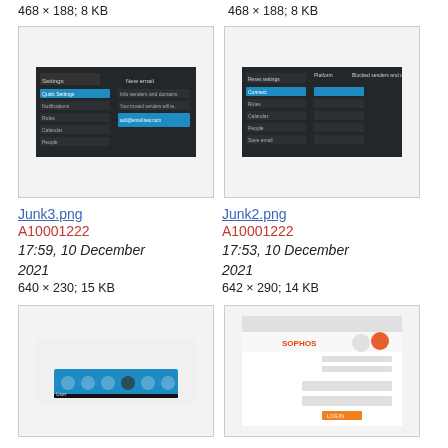468 × 188; 8 KB
468 × 188; 8 KB
[Figure (screenshot): Screenshot of a dark-themed settings/email application interface]
[Figure (screenshot): Screenshot of a dark-themed application settings panel]
Junk3.png
Junk2.png
A10001222
A10001222
17:59, 10 December 2021
17:53, 10 December 2021
640 × 230; 15 KB
642 × 290; 14 KB
[Figure (screenshot): Screenshot showing a blue taskbar/toolbar with icons]
[Figure (screenshot): Screenshot of Sophos web interface login or dashboard page]